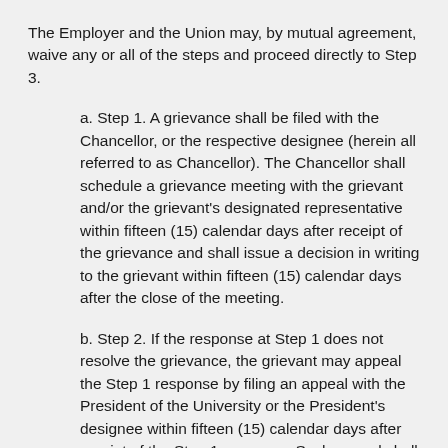The Employer and the Union may, by mutual agreement, waive any or all of the steps and proceed directly to Step 3.
a. Step 1. A grievance shall be filed with the Chancellor, or the respective designee (herein all referred to as Chancellor). The Chancellor shall schedule a grievance meeting with the grievant and/or the grievant's designated representative within fifteen (15) calendar days after receipt of the grievance and shall issue a decision in writing to the grievant within fifteen (15) calendar days after the close of the meeting.
b. Step 2. If the response at Step 1 does not resolve the grievance, the grievant may appeal the Step 1 response by filing an appeal with the President of the University or the President's designee within fifteen (15) calendar days after receipt of the Step 1 response. Such appeal shall be in writing and shall specify the reason why the Step 1 decision is unsatisfactory. The President need not consider any grievance in Step 2 which